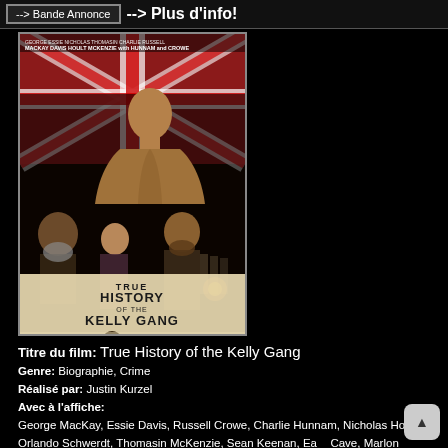--> Bande Annonce  --> Plus d'info!
[Figure (photo): Movie poster for 'True History of the Kelly Gang', a film by Justin Kurzel. Shows multiple actors including a shirtless man in the foreground, with a Union Jack flag in the background. Cast names listed at top: George MacKay, Essie Davis, Nicholas Hoult, Thomasin McKenzie, with Charlie Hunnam and Russell Crowe. Title in large text: TRUE HISTORY OF THE KELLY GANG. A FILM BY JUSTIN KURZEL at bottom.]
Titre du film: True History of the Kelly Gang
Genre: Biographie, Crime
Réalisé par: Justin Kurzel
Avec à l'affiche:
George MacKay, Essie Davis, Russell Crowe, Charlie Hunnam, Nicholas Hoult, Orlando Schwerdt, Thomasin McKenzie, Sean Keenan, Earl Cave, Marlon Williams, Louis Hewison, Ben Corbett, Jacob Collins-Levy, Claudia Karvan